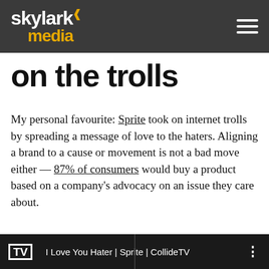skylark media
on the trolls
My personal favourite: Sprite took on internet trolls by spreading a message of love to the haters. Aligning a brand to a cause or movement is not a bad move either — 87% of consumers would buy a product based on a company's advocacy on an issue they care about.
[Figure (screenshot): Video thumbnail bar showing TV logo and title 'I Love You Hater | Sprite | CollideTV' on dark background]